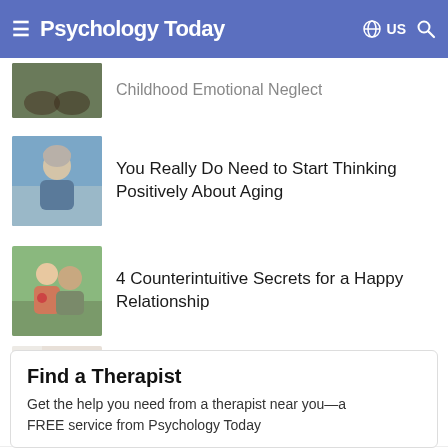Psychology Today
Childhood Emotional Neglect (partially visible)
You Really Do Need to Start Thinking Positively About Aging
4 Counterintuitive Secrets for a Happy Relationship
3 Things Making Gen Z the Loneliest Generation
Find a Therapist
Get the help you need from a therapist near you—a FREE service from Psychology Today